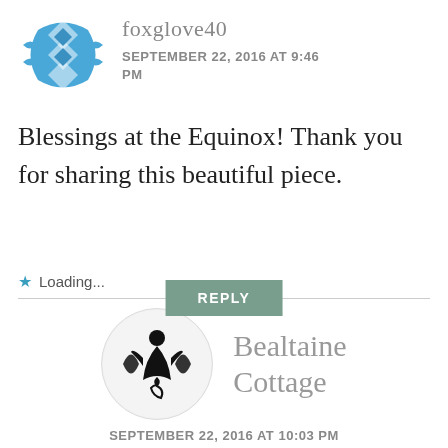[Figure (illustration): Blue geometric/floral avatar icon for user foxglove40]
foxglove40
SEPTEMBER 22, 2016 AT 9:46 PM
Blessings at the Equinox! Thank you for sharing this beautiful piece.
Loading...
REPLY
[Figure (illustration): Circular avatar with black triple moon goddess symbol for Bealtaine Cottage]
Bealtaine Cottage
SEPTEMBER 22, 2016 AT 10:03 PM